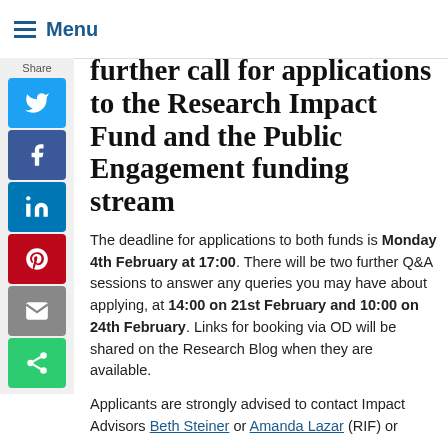Menu
further call for applications to the Research Impact Fund and the Public Engagement funding stream
The deadline for applications to both funds is Monday 4th February at 17:00. There will be two further Q&A sessions to answer any queries you may have about applying, at 14:00 on 21st February and 10:00 on 24th February. Links for booking via OD will be shared on the Research Blog when they are available.
Applicants are strongly advised to contact Impact Advisors Beth Steiner or Amanda Lazar (RIF) or